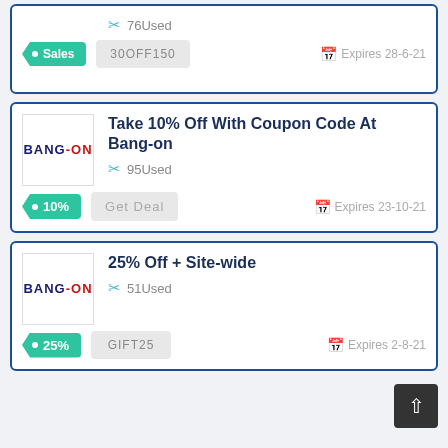76Used
• Sales
30OFF150
Expires 28-6-21
Take 10% Off With Coupon Code At Bang-on
95Used
10%
Get Deal
Expires 23-10-21
25% Off + Site-wide
51Used
25%
GIFT25
Expires 2-8-21